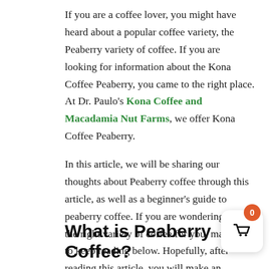If you are a coffee lover, you might have heard about a popular coffee variety, the Peaberry variety of coffee. If you are looking for information about the Kona Coffee Peaberry, you came to the right place. At Dr. Paulo's Kona Coffee and Macadamia Nut Farms, we offer Kona Coffee Peaberry.

In this article, we will be sharing our thoughts about Peaberry coffee through this article, as well as a beginner's guide to peaberry coffee. If you are wondering if it is the right variety of coffee for you, make sure to keep reading below. Hopefully, after reading this article, you will make an informed decision the next time you decide to purchase a bag of coffee beans.
What is Peaberry Coffee?